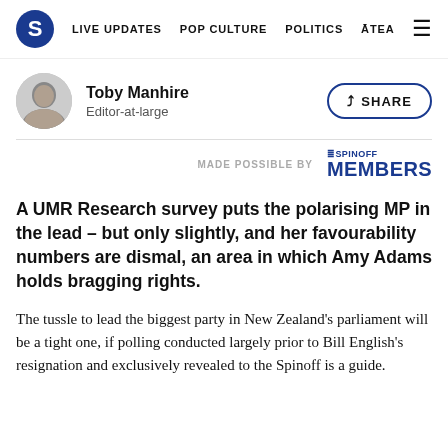S  LIVE UPDATES  POP CULTURE  POLITICS  ĀTEA  ☰
Toby Manhire
Editor-at-large
SHARE
MADE POSSIBLE BY  ≡SPINOFF MEMBERS
A UMR Research survey puts the polarising MP in the lead – but only slightly, and her favourability numbers are dismal, an area in which Amy Adams holds bragging rights.
The tussle to lead the biggest party in New Zealand's parliament will be a tight one, if polling conducted largely prior to Bill English's resignation and exclusively revealed to the Spinoff is a guide.